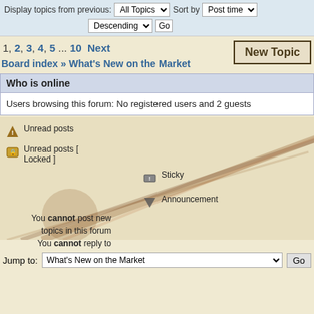Display topics from previous: All Topics ▼  Sort by  Post time ▼  Descending ▼  Go
1, 2, 3, 4, 5 ... 10  Next
New Topic
Board index » What's New on the Market
Who is online
Users browsing this forum: No registered users and 2 guests
Unread posts
Unread posts [ Locked ]
Sticky
Announcement
You cannot post new topics in this forum
You cannot reply to topics in this forum
You cannot edit your posts in this forum
You cannot delete your posts in this forum
Jump to:  What's New on the Market  Go